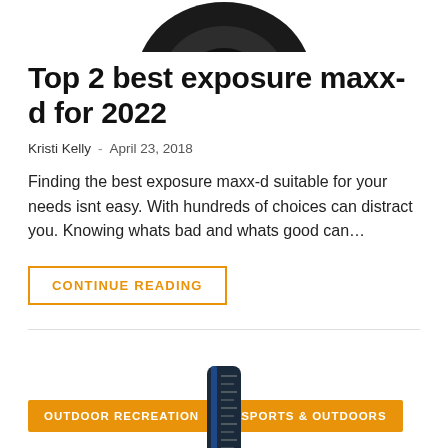[Figure (photo): Partial view of a dark-colored circular product (top portion visible, cropped at top of page)]
Top 2 best exposure maxx-d for 2022
Kristi Kelly - April 23, 2018
Finding the best exposure maxx-d suitable for your needs isnt easy. With hundreds of choices can distract you. Knowing whats bad and whats good can…
CONTINUE READING
[Figure (photo): Partial view of a black and blue cylindrical tool/product visible at the bottom center of the page]
OUTDOOR RECREATION   SPORTS & OUTDOORS